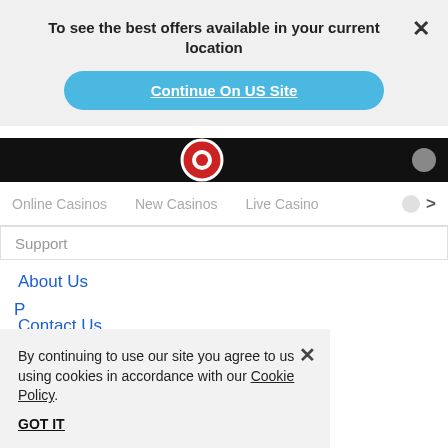To see the best offers available in your current location
Continue On US Site
[Figure (screenshot): Black image strip with poker chip graphic and circle icon]
Online Casinos  New Casinos  Live Casino
Support
About Us
Contact Us
Corporate
By continuing to use our site you agree to us using cookies in accordance with our Cookie Policy. GOT IT